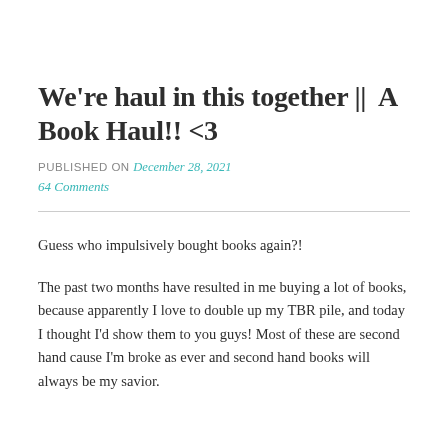We're haul in this together || A Book Haul!! <3
PUBLISHED ON December 28, 2021
64 Comments
Guess who impulsively bought books again?!
The past two months have resulted in me buying a lot of books, because apparently I love to double up my TBR pile, and today I thought I'd show them to you guys! Most of these are second hand cause I'm broke as ever and second hand books will always be my savior.